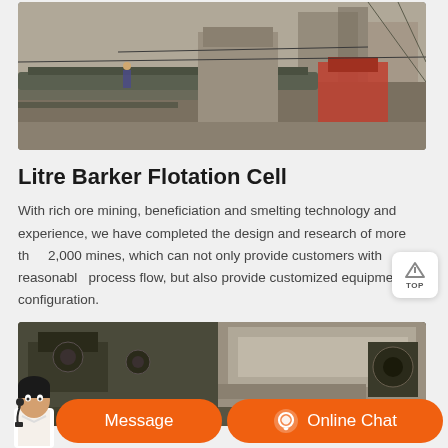[Figure (photo): Industrial mining/flotation machinery and equipment at a mine site, showing conveyor belts, tanks, and industrial infrastructure]
Litre Barker Flotation Cell
With rich ore mining, beneficiation and smelting technology and experience, we have completed the design and research of more than 2,000 mines, which can not only provide customers with reasonable process flow, but also provide customized equipment configuration.
[Figure (photo): Close-up of industrial flotation cell equipment showing concrete structure and mechanical components]